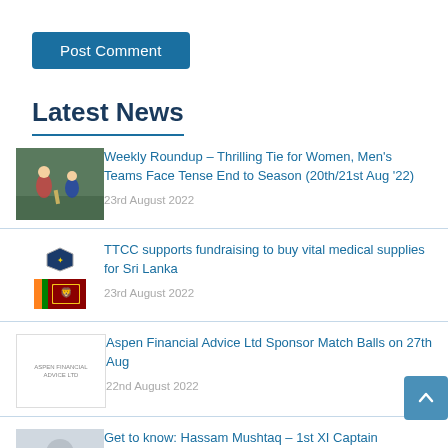Post Comment
Latest News
[Figure (photo): Cricket match action shot thumbnail]
Weekly Roundup – Thrilling Tie for Women, Men's Teams Face Tense End to Season (20th/21st Aug '22)
23rd August 2022
[Figure (photo): TTCC crest and Sri Lanka flag thumbnail]
TTCC supports fundraising to buy vital medical supplies for Sri Lanka
23rd August 2022
[Figure (logo): Aspen Financial Advice Ltd logo thumbnail]
Aspen Financial Advice Ltd Sponsor Match Balls on 27th Aug
22nd August 2022
[Figure (photo): Person portrait thumbnail - Hassam Mushtaq]
Get to know: Hassam Mushtaq – 1st XI Captain